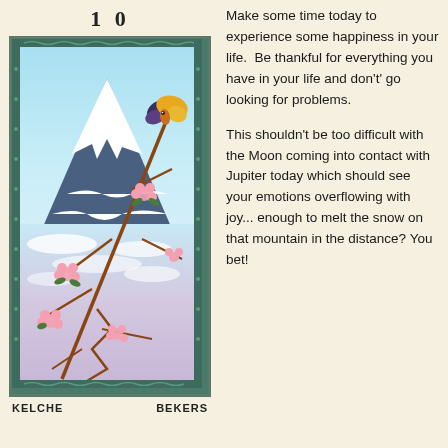[Figure (illustration): Tarot card number 10 (Ten of Cups/Kelche/Bekers). Japanese ukiyo-e style illustration showing snow-capped Mount Fuji in background, cherry blossom branches with pink flowers in foreground, a yellow-and-black bird perched on upper right branch. Sky is light blue, with icy water/snow below the mountain. Card has ornate dark teal border with paisley/scroll pattern.]
Make some time today to experience some happiness in your life.  Be thankful for everything you have in your life and don't' go looking for problems.

This shouldn't be too difficult with the Moon coming into contact with Jupiter today which should see your emotions overflowing with joy... enough to melt the snow on that mountain in the distance? You bet!
KELCHE                    BEKERS